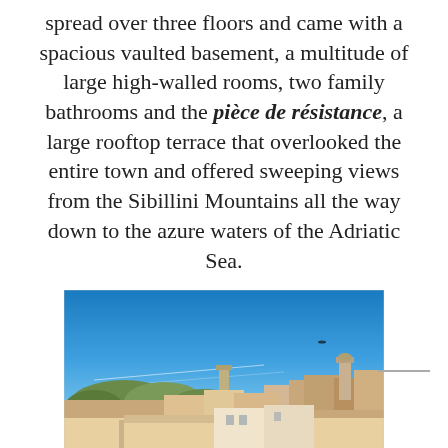spread over three floors and came with a spacious vaulted basement, a multitude of large high-walled rooms, two family bathrooms and the pièce de résistance, a large rooftop terrace that overlooked the entire town and offered sweeping views from the Sibillini Mountains all the way down to the azure waters of the Adriatic Sea.
[Figure (photo): Rooftop view photograph showing a panoramic scene of an Italian hilltown with terracotta rooftops, church towers, green trees, and a clear bright blue sky with thin contrails. A small bird or object is visible in the upper right of the sky.]